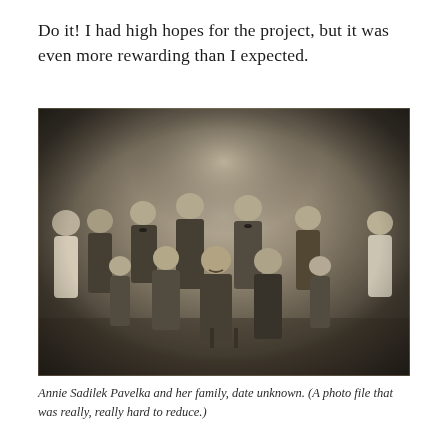Do it! I had high hopes for the project, but it was even more rewarding than I expected.
[Figure (photo): Black and white family portrait photograph of Annie Sadilek Pavelka and her family. The group includes approximately 12 people — adults and children — posed in two rows, with seated adults in the center front and standing figures surrounding them.]
Annie Sadilek Pavelka and her family, date unknown. (A photo file that was really, really hard to reduce.)